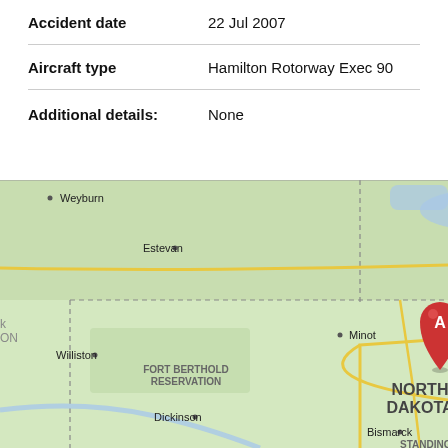| Accident date | 22 Jul 2007 |
| Aircraft type | Hamilton Rotorway Exec 90 |
| Additional details: | None |
[Figure (map): Map showing North Dakota and surrounding region (including Manitoba with Winnipeg, and Saskatchewan). Two red location pins labeled A (North Dakota) and C (southern Manitoba) are visible on the map.]